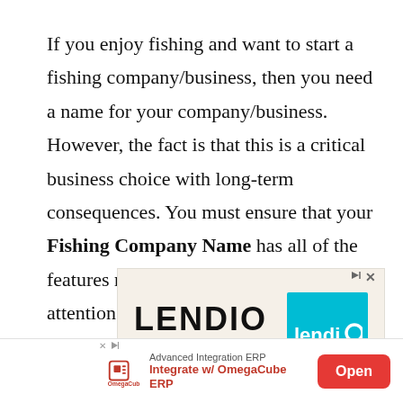If you enjoy fishing and want to start a fishing company/business, then you need a name for your company/business. However, the fact is that this is a critical business choice with long-term consequences. You must ensure that your Fishing Company Name has all of the features necessary to attract customer's attention and highlight what you have to offer.
[Figure (other): Lendio advertisement banner showing the Lendio logo in large bold text alongside a cyan/teal square logo, with 'SBA' visible in red at the bottom. Close and skip buttons in top right.]
[Figure (other): OmegaCube ERP advertisement banner at the bottom of the page: 'Advanced Integration ERP - Integrate w/ OmegaCube ERP' with an Open button in red.]